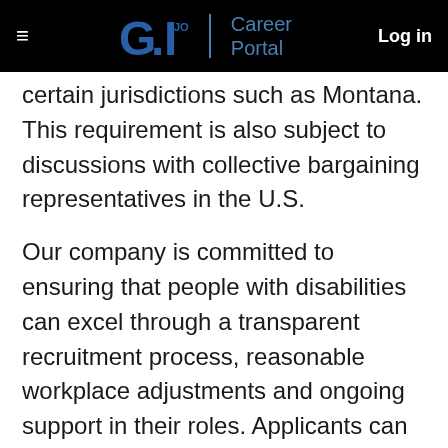≡  G.I. JOBS | Career Portal  Log in
certain jurisdictions such as Montana. This requirement is also subject to discussions with collective bargaining representatives in the U.S.
Our company is committed to ensuring that people with disabilities can excel through a transparent recruitment process, reasonable workplace adjustments and ongoing support in their roles. Applicants can request an approval of accommodation prior to accepting a job offer. If you require